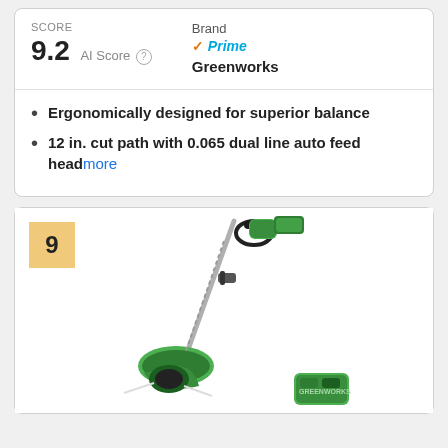SCORE 9.2 AI Score
Brand Greenworks ✓Prime
Ergonomically designed for superior balance
12 in. cut path with 0.065 dual line auto feed head more
9
[Figure (photo): Greenworks battery-powered string trimmer / weed eater shown at an angle, green and black color scheme, with D-handle and auto-feed head]